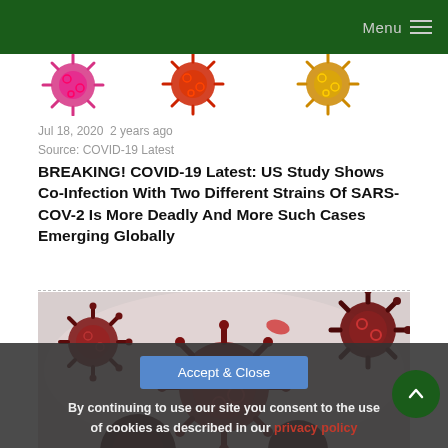Menu
[Figure (illustration): Three colorful coronavirus particle illustrations in pink/magenta, red/orange, and yellow/orange]
Jul 18, 2020  2 years ago
Source: COVID-19 Latest
BREAKING! COVID-19 Latest: US Study Shows Co-Infection With Two Different Strains Of SARS-COV-2 Is More Deadly And More Such Cases Emerging Globally
[Figure (photo): Close-up photo of red coronavirus particles on a light grey background]
By continuing to use our site you consent to the use of cookies as described in our privacy policy